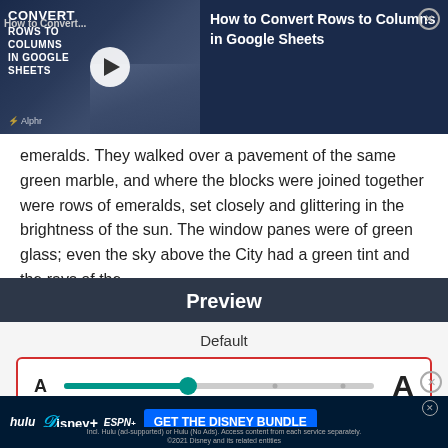[Figure (screenshot): Video ad overlay for 'How to Convert Rows to Columns in Google Sheets' tutorial on dark blue background with play button, thumbnail showing hands on keyboard, and Alphr logo]
emeralds. They walked over a pavement of the same green marble, and where the blocks were joined together were rows of emeralds, set closely and glittering in the brightness of the sun. The window panes were of green glass; even the sky above the City had a green tint and the rays of the
Preview
Default
[Figure (screenshot): Font size slider control with red border highlight. Small 'A' on left, large 'A' on right, teal/green slider positioned about 40% from left with two additional dot markers.]
Make the text on screen smaller or larger.
[Figure (screenshot): Bottom advertisement banner: Hulu, Disney+, ESPN+ logos with 'GET THE DISNEY BUNDLE' CTA button in blue, fine print text below]